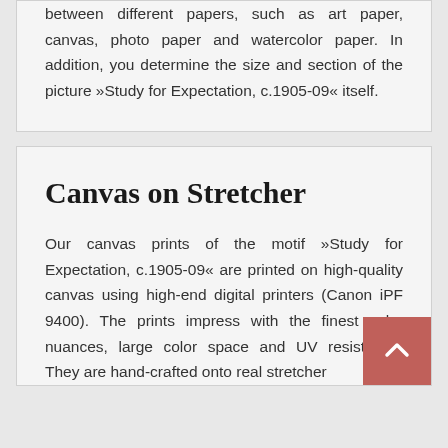between different papers, such as art paper, canvas, photo paper and watercolor paper. In addition, you determine the size and section of the picture »Study for Expectation, c.1905-09« itself.
Canvas on Stretcher
Our canvas prints of the motif »Study for Expectation, c.1905-09« are printed on high-quality canvas using high-end digital printers (Canon iPF 9400). The prints impress with the finest color nuances, large color space and UV resistance. They are hand-crafted onto real stretcher